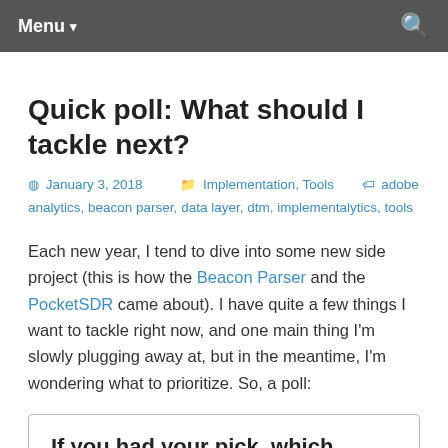Menu ▾
Quick poll: What should I tackle next?
January 3, 2018   Implementation, Tools   adobe analytics, beacon parser, data layer, dtm, implementalytics, tools
Each new year, I tend to dive into some new side project (this is how the Beacon Parser and the PocketSDR came about). I have quite a few things I want to tackle right now, and one main thing I'm slowly plugging away at, but in the meantime, I'm wondering what to prioritize. So, a poll:
If you had your pick, which